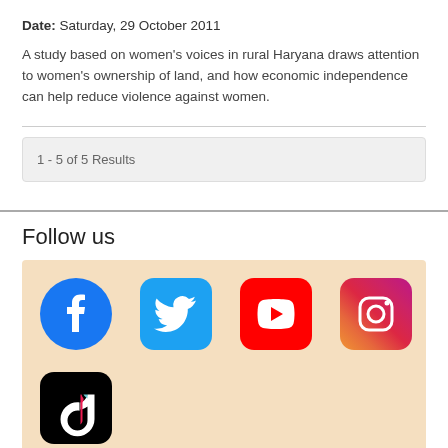Date: Saturday, 29 October 2011
A study based on women's voices in rural Haryana draws attention to women's ownership of land, and how economic independence can help reduce violence against women.
1 - 5 of 5 Results
Follow us
[Figure (illustration): Social media icons: Facebook, Twitter, YouTube, Instagram, TikTok on a light peach/beige background]